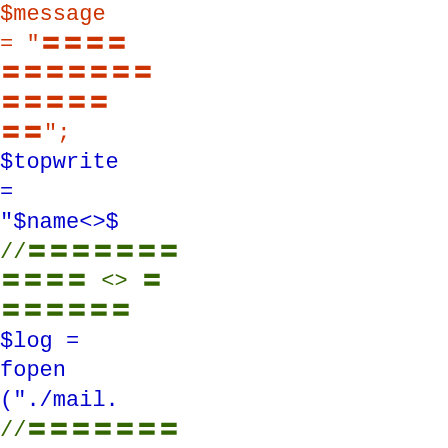PHP code snippet showing $message, $topwrite, $log = fopen, flock, fputs with Japanese comments